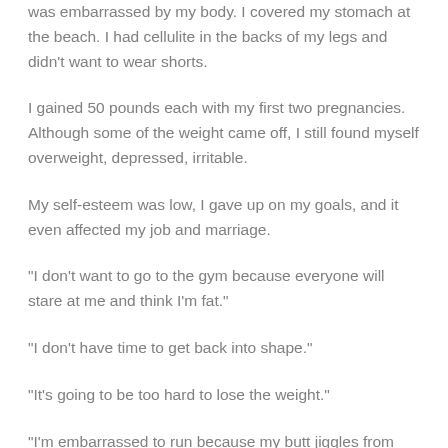was embarrassed by my body. I covered my stomach at the beach. I had cellulite in the backs of my legs and didn't want to wear shorts.
I gained 50 pounds each with my first two pregnancies. Although some of the weight came off, I still found myself overweight, depressed, irritable.
My self-esteem was low, I gave up on my goals, and it even affected my job and marriage.
“I don’t want to go to the gym because everyone will stare at me and think I’m fat.”
“I don’t have time to get back into shape.”
“It’s going to be too hard to lose the weight.”
“I’m embarrassed to run because my butt jiggles from behind.”